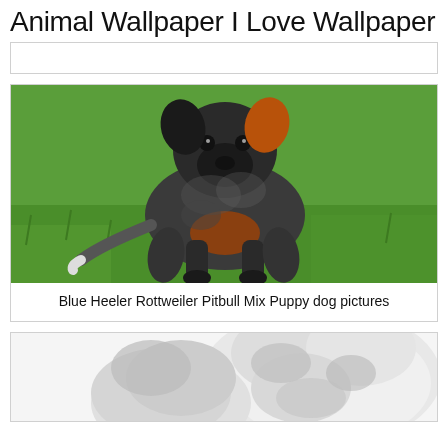Animal Wallpaper I Love Wallpaper
[Figure (photo): Empty white card placeholder at top]
[Figure (photo): Blue Heeler Rottweiler Pitbull Mix puppy standing on green grass, dark grey and tan coloring, facing camera]
Blue Heeler Rottweiler Pitbull Mix Puppy dog pictures
[Figure (photo): Partial view of a white/grey fluffy dog, cropped at bottom of page]